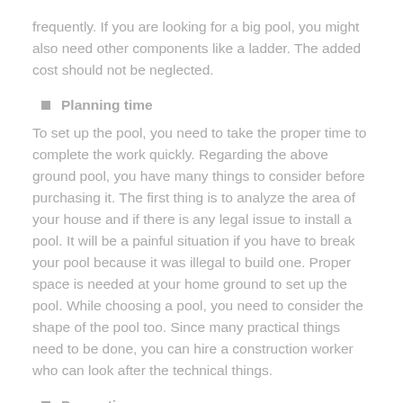frequently. If you are looking for a big pool, you might also need other components like a ladder. The added cost should not be neglected.
Planning time
To set up the pool, you need to take the proper time to complete the work quickly. Regarding the above ground pool, you have many things to consider before purchasing it. The first thing is to analyze the area of your house and if there is any legal issue to install a pool. It will be a painful situation if you have to break your pool because it was illegal to build one. Proper space is needed at your home ground to set up the pool. While choosing a pool, you need to consider the shape of the pool too. Since many practical things need to be done, you can hire a construction worker who can look after the technical things.
Precautions